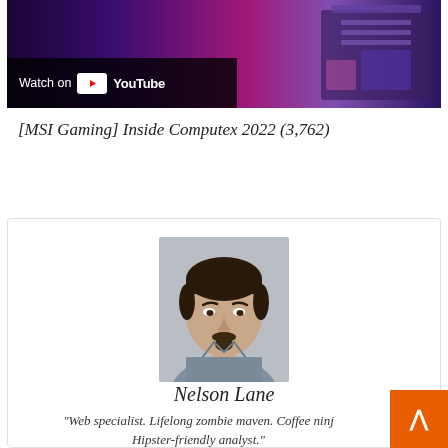[Figure (screenshot): YouTube video thumbnail showing 'Watch on YouTube' overlay on left side, with gaming hardware on dark purple/pink background on right side. Video title: [MSI Gaming] Inside Computex 2022]
[MSI Gaming] Inside Computex 2022 (3,762)
[Figure (photo): Author profile photo of Nelson Lane, a man with dark hair and a goatee wearing a gray shirt, against a gray background]
Nelson Lane
"Web specialist. Lifelong zombie maven. Coffee ninj… Hipster-friendly analyst."